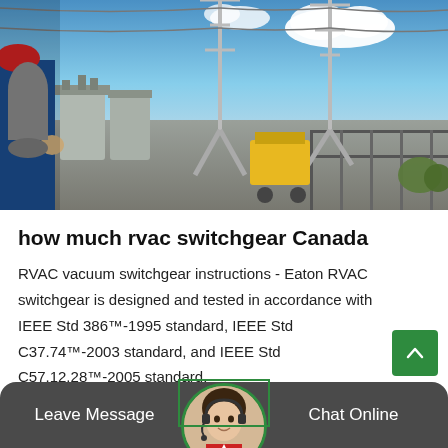[Figure (photo): Electrical substation with power transmission towers, transformers, and switchgear equipment under a blue sky with clouds. A worker in blue coveralls is visible on the left side.]
how much rvac switchgear Canada
RVAC vacuum switchgear instructions - Eaton RVAC switchgear is designed and tested in accordance with IEEE Std 386™-1995 standard, IEEE Std C37.74™-2003 standard, and IEEE Std C57.12.28™-2005 standard.